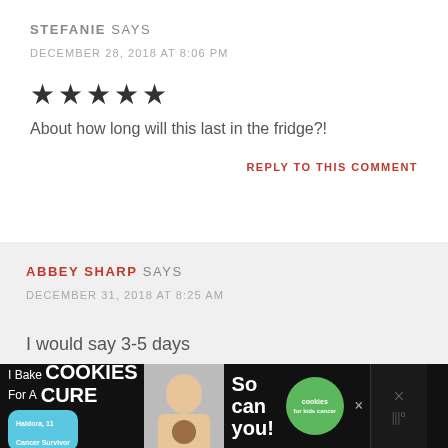STEFANIE SAYS
DECEMBER 28, 2018 AT 8:06 PM
[Figure (other): Five filled star rating icons]
About how long will this last in the fridge?!
REPLY TO THIS COMMENT
ABBEY SHARP SAYS
DECEMBER 31, 2018 AT 8:25 AM
I would say 3-5 days
[Figure (photo): Advertisement banner: I Bake Cookies For A Cure with photo of girl and cookies for kids cancer logo]